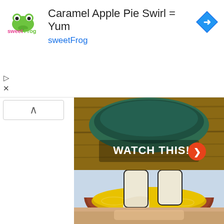[Figure (screenshot): Ad banner for sweetFrog showing logo, text 'Caramel Apple Pie Swirl = Yum', 'sweetFrog' subtitle in cyan, blue diamond arrow icon, play/close controls, and an up-chevron button]
[Figure (photo): Illustration showing feet soaking in a bowl of yellow liquid (turmeric/oil foot bath), with 'WATCH THIS!' button overlaid]
[Figure (photo): Partially visible close-up photo of a person's face at bottom of page]